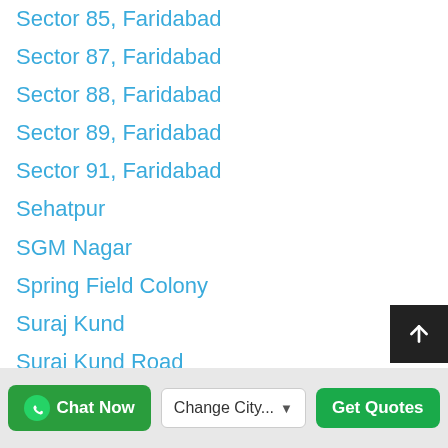Sector 85, Faridabad
Sector 87, Faridabad
Sector 88, Faridabad
Sector 89, Faridabad
Sector 91, Faridabad
Sehatpur
SGM Nagar
Spring Field Colony
Suraj Kund
Suraj Kund Road
Tikawali
Vinay Nagar
Yadav Colony
Chat Now | Change City... | Get Quotes